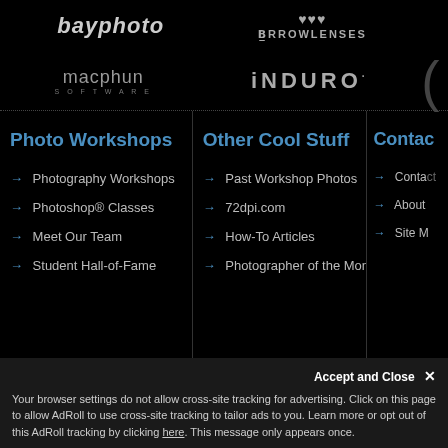[Figure (logo): bayphoto logo - italic bold text in light gray]
[Figure (logo): BorrowLenses logo with stylized icon above text]
[Figure (logo): macphun SOFTWARE logo in gray]
[Figure (logo): INDURO logo in bold gray letters]
Photo Workshops
Other Cool Stuff
Contact
→ Photography Workshops
→ Photoshop® Classes
→ Meet Our Team
→ Student Hall-of-Fame
→ Past Workshop Photos
→ 72dpi.com
→ How-To Articles
→ Photographer of the Month
→ Contact
→ About
→ Site M
Accept and Close ✕
Your browser settings do not allow cross-site tracking for advertising. Click on this page to allow AdRoll to use cross-site tracking to tailor ads to you. Learn more or opt out of this AdRoll tracking by clicking here. This message only appears once.